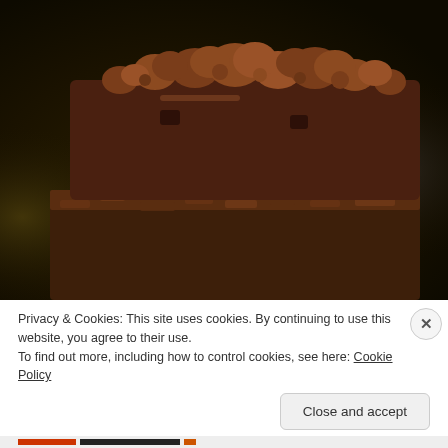[Figure (photo): Close-up photo of stacked chocolate brownies with a crumbly, nutty topping, photographed against a dark blurred background.]
Privacy & Cookies: This site uses cookies. By continuing to use this website, you agree to their use.
To find out more, including how to control cookies, see here: Cookie Policy
Close and accept